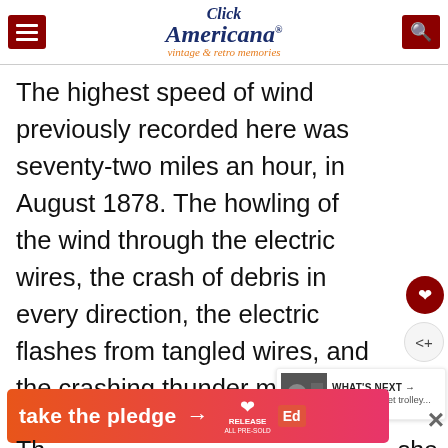Click Americana — vintage & retro memories
The highest speed of wind previously recorded here was seventy-two miles an hour, in August 1878. The howling of the wind through the electric wires, the crash of debris in every direction, the electric flashes from tangled wires, and the crashing thunder made the scene that is indescribable.
[Figure (other): Advertisement banner: 'take the pledge' with arrow, Release logo, and ed badge on gradient orange-pink background]